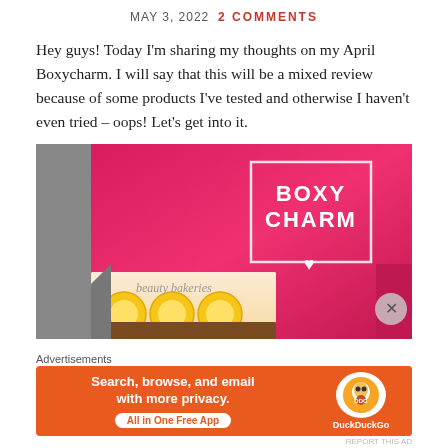MAY 3, 2022  2 COMMENTS
Hey guys! Today I'm sharing my thoughts on my April Boxycharm. I will say that this will be a mixed review because of some products I've tested and otherwise I haven't even tried – oops! Let's get into it.
[Figure (photo): Open pink Boxycharm subscription box with white logo and heart, and a beauty bakeries lemon product box inside]
Advertisements
[Figure (screenshot): DuckDuckGo advertisement banner: Search, browse, and email with more privacy. All in One Free App. Orange background with DuckDuckGo logo.]